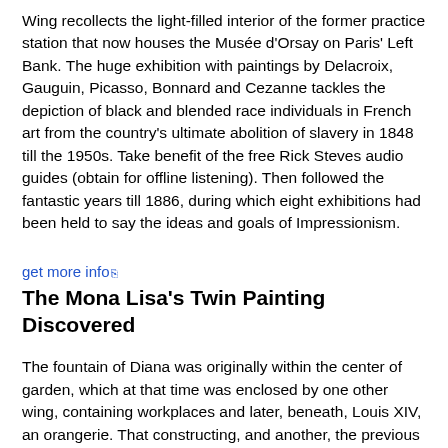Wing recollects the light-filled interior of the former practice station that now houses the Musée d'Orsay on Paris' Left Bank. The huge exhibition with paintings by Delacroix, Gauguin, Picasso, Bonnard and Cezanne tackles the depiction of black and blended race individuals in French art from the country's ultimate abolition of slavery in 1848 till the 1950s. Take benefit of the free Rick Steves audio guides (obtain for offline listening). Then followed the fantastic years till 1886, during which eight exhibitions had been held to say the ideas and goals of Impressionism.
get more info
The Mona Lisa's Twin Painting Discovered
The fountain of Diana was originally within the center of garden, which at that time was enclosed by one other wing, containing workplaces and later, beneath, Louis XIV, an orangerie. That constructing, and another, the previous chancellery, have been demolished in the 19th century, doubling the dimensions of the garden.